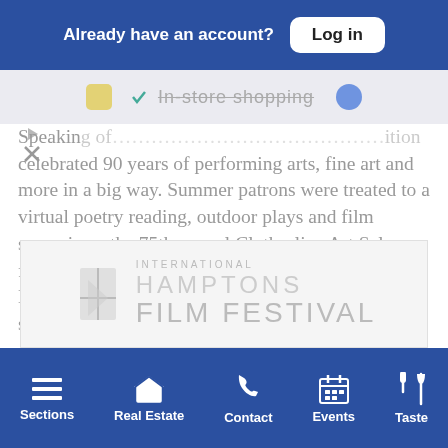Already have an account?  Log in
[Figure (screenshot): In-store shopping crossed-out strip with icons]
Speaking of... [institution] celebrated 90 years of performing arts, fine art and more in a big way. Summer patrons were treated to a virtual poetry reading, outdoor plays and film screenings, the 75th annual Clothesline Art Sale, family workshops, KidFEST, conversations with Black and Indigenous change-makers, a culinary series, Selections from the Permanent Collection and more.
[Figure (logo): Hamptons International Film Festival logo]
Sections  Real Estate  Contact  Events  Taste